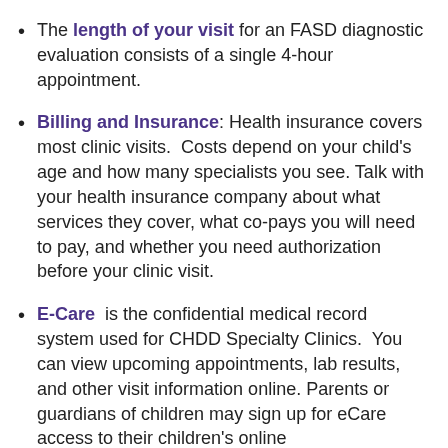The length of your visit for an FASD diagnostic evaluation consists of a single 4-hour appointment.
Billing and Insurance: Health insurance covers most clinic visits. Costs depend on your child's age and how many specialists you see. Talk with your health insurance company about what services they cover, what co-pays you will need to pay, and whether you need authorization before your clinic visit.
E-Care is the confidential medical record system used for CHDD Specialty Clinics. You can view upcoming appointments, lab results, and other visit information online. Parents or guardians of children may sign up for eCare access to their children's online